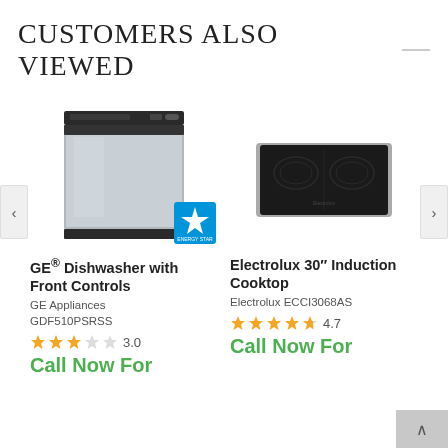CUSTOMERS ALSO VIEWED
[Figure (photo): GE stainless steel front-control dishwasher with ENERGY STAR badge]
[Figure (photo): Electrolux 30-inch black induction cooktop]
GE® Dishwasher with Front Controls
Electrolux 30" Induction Cooktop
GE Appliances
GDF510PSRSS
Electrolux ECCI3068AS
3.0
4.7
Call Now For
Call Now For